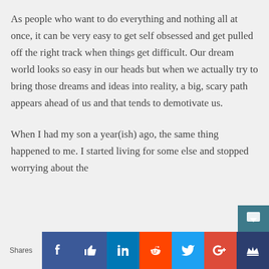As people who want to do everything and nothing all at once, it can be very easy to get self obsessed and get pulled off the right track when things get difficult. Our dream world looks so easy in our heads but when we actually try to bring those dreams and ideas into reality, a big, scary path appears ahead of us and that tends to demotivate us.
When I had my son a year(ish) ago, the same thing happened to me. I started living for some else and stopped worrying about the
[Figure (infographic): Social media sharing bar with icons for Facebook, Like (thumbs up), LinkedIn, Reddit, Twitter, Google+, and a crown icon. A 'Shares' label appears on the left.]